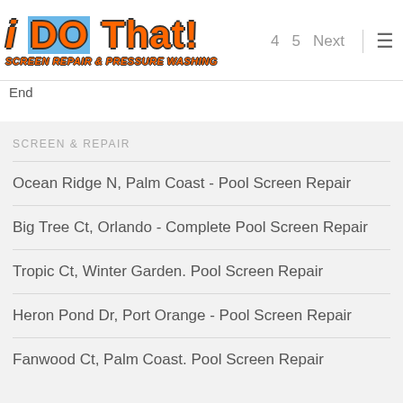[Figure (logo): i DO That! Screen Repair & Pressure Washing logo with orange text and blue highlight]
4  5  Next  ≡
End
SCREEN & REPAIR
Ocean Ridge N, Palm Coast - Pool Screen Repair
Big Tree Ct, Orlando - Complete Pool Screen Repair
Tropic Ct, Winter Garden. Pool Screen Repair
Heron Pond Dr, Port Orange - Pool Screen Repair
Fanwood Ct, Palm Coast. Pool Screen Repair